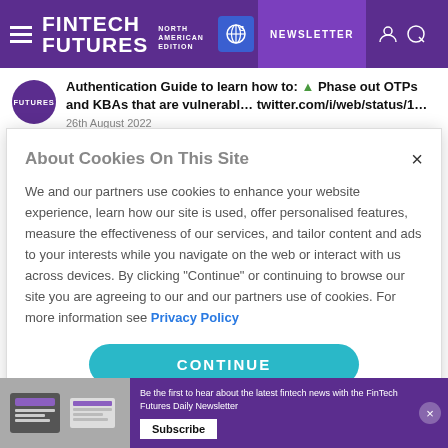FINTECH FUTURES NORTH AMERICAN EDITION | NEWSLETTER
Authentication Guide to learn how to: Phase out OTPs and KBAs that are vulnerabl… twitter.com/i/web/status/1…
26th August 2022
About Cookies On This Site
We and our partners use cookies to enhance your website experience, learn how our site is used, offer personalised features, measure the effectiveness of our services, and tailor content and ads to your interests while you navigate on the web or interact with us across devices. By clicking "Continue" or continuing to browse our site you are agreeing to our and our partners use of cookies. For more information see Privacy Policy
CONTINUE
Be the first to hear about the latest fintech news with the FinTech Futures Daily Newsletter
Subscribe